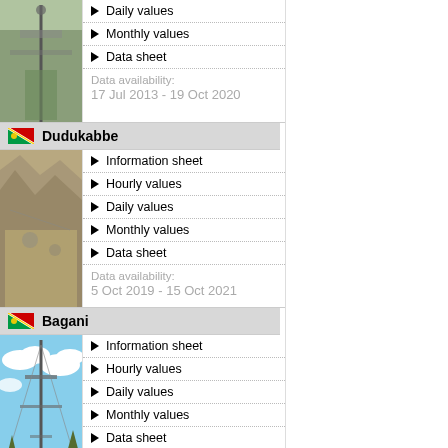Daily values
Monthly values
Data sheet
Data availability: 17 Jul 2013 - 19 Oct 2020
Dudukabbe
[Figure (photo): Photo of Dudukabbe weather station showing rocky cliff face]
Information sheet
Hourly values
Daily values
Monthly values
Data sheet
Data availability: 5 Oct 2019 - 15 Oct 2021
Bagani
[Figure (photo): Photo of Bagani weather station showing tall mast against blue sky with clouds]
Information sheet
Hourly values
Daily values
Monthly values
Data sheet
Data availability: 19 Feb 2013 - 5 Mar 2022
Hamoye
[Figure (photo): Photo of Hamoye weather station]
Information sheet